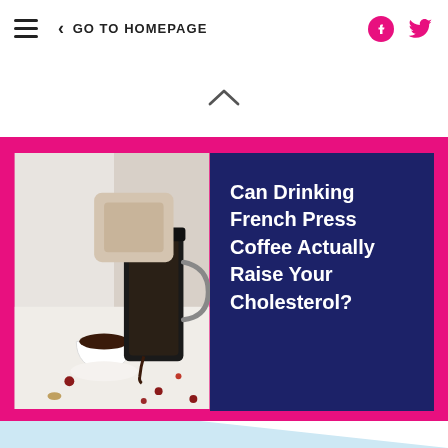GO TO HOMEPAGE
[Figure (screenshot): Upward chevron/caret navigation element]
[Figure (photo): Person pouring coffee from a French press into a white cup, with berries scattered on a white surface]
Can Drinking French Press Coffee Actually Raise Your Cholesterol?
MORE IN LIFE
[Figure (illustration): Purple card/banner at bottom of page]